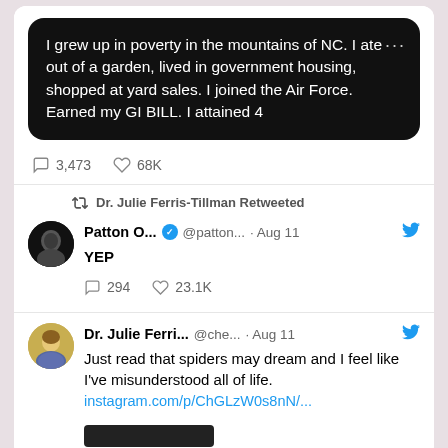[Figure (screenshot): Screenshot of Twitter/X feed showing multiple tweets. First tweet has a black speech bubble with text about growing up in poverty. Second tweet is a retweet by Dr. Julie Ferris-Tillman of Patton O... saying YEP. Third tweet is by Dr. Julie Ferri... about spiders dreaming.]
I grew up in poverty in the mountains of NC. I ate out of a garden, lived in government housing, shopped at yard sales. I joined the Air Force. Earned my GI BILL. I attained 4
3,473   68K
Dr. Julie Ferris-Tillman Retweeted
Patton O... @patton... · Aug 11
YEP
294   23.1K
Dr. Julie Ferri... @che... · Aug 11
Just read that spiders may dream and I feel like I've misunderstood all of life.
instagram.com/p/ChGLzW0s8nN/...